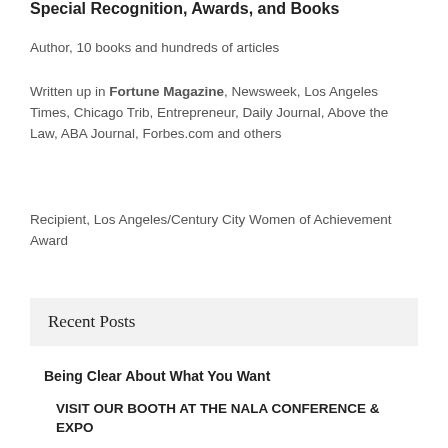Special Recognition, Awards, and Books
Author, 10 books and hundreds of articles
Written up in Fortune Magazine, Newsweek, Los Angeles Times, Chicago Trib, Entrepreneur, Daily Journal, Above the Law, ABA Journal, Forbes.com and others
Recipient, Los Angeles/Century City Women of Achievement Award
Recent Posts
Being Clear About What You Want
VISIT OUR BOOTH AT THE NALA CONFERENCE & EXPO